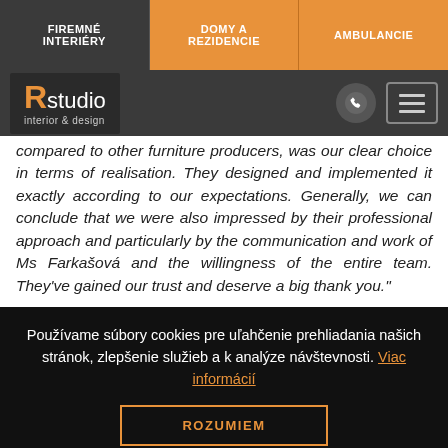FIREMNÉ INTERIÉRY | DOMY A REZIDENCIE | AMBULANCIE
[Figure (logo): Rstudio interior & design logo with phone icon and menu button]
compared to other furniture producers, was our clear choice in terms of realisation. They designed and implemented it exactly according to our expectations. Generally, we can conclude that we were also impressed by their professional approach and particularly by the communication and work of Ms Farkašová and the willingness of the entire team. They've gained our trust and deserve a big thank you."
Používame súbory cookies pre uľahčenie prehliadania našich stránok, zlepšenie služieb a k analýze návštevnosti. Viac informácií
ROZUMIEM